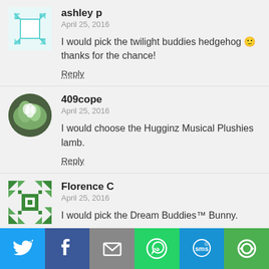ashley p
April 25, 2016
I would pick the twilight buddies hedgehog 🙂 thanks for the chance!
Reply
409cope
April 25, 2016
I would choose the Hugginz Musical Plushies lamb.
Reply
Florence C
April 25, 2016
I would pick the Dream Buddies™ Bunny.
Reply
[Figure (screenshot): Social share bar with Twitter, Facebook, Email, WhatsApp, SMS, and More buttons]